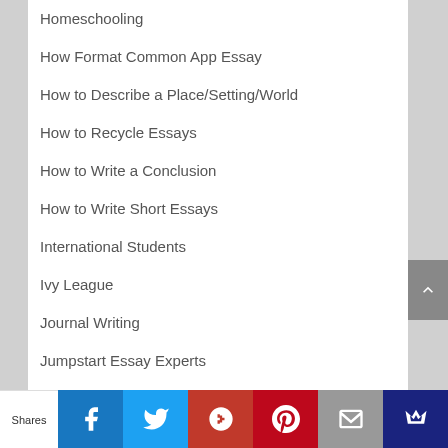Homeschooling
How Format Common App Essay
How to Describe a Place/Setting/World
How to Recycle Essays
How to Write a Conclusion
How to Write Short Essays
International Students
Ivy League
Journal Writing
Jumpstart Essay Experts
Lesson Plans
Math and Science Students
Parents
Shares | Facebook | Twitter | Google+ | Pinterest | Email | Crown